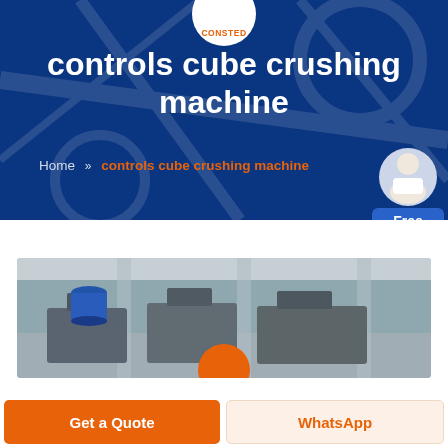CONSTED
controls cube crushing machine
Home » controls cube crushing machine
[Figure (photo): Industrial factory floor showing cube crushing machines / construction equipment testing machinery in a large warehouse setting]
Get a Quote
WhatsApp